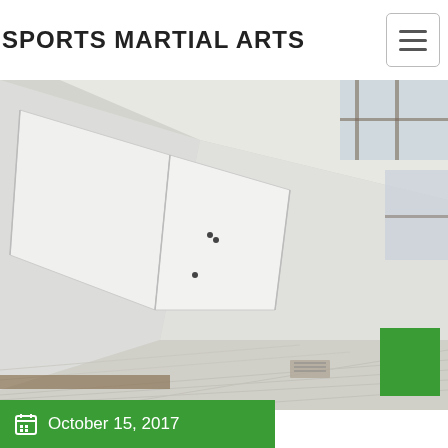SPORTS MARTIAL ARTS
[Figure (photo): Interior room photo showing white walls, wooden floor panels arranged at an angle, a brown baseboard, and windows letting in light. The space appears to be a martial arts training room or dojo under setup.]
October 15, 2017